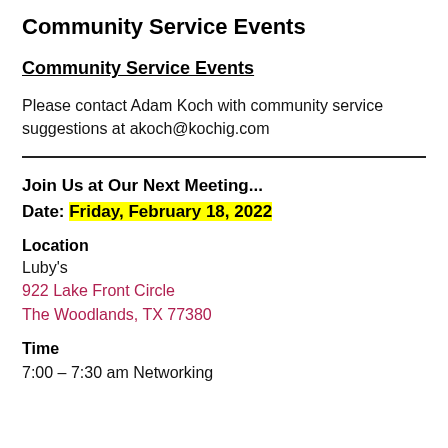Community Service Events
Community Service Events
Please contact Adam Koch with community service suggestions at akoch@kochig.com
Join Us at Our Next Meeting...
Date: Friday, February 18, 2022
Location
Luby's
922 Lake Front Circle
The Woodlands, TX 77380
Time
7:00 – 7:30 am Networking